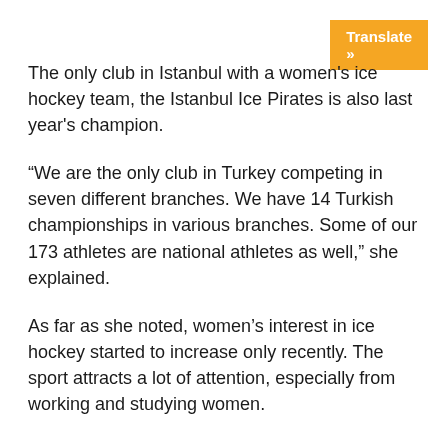Translate »
The only club in Istanbul with a women's ice hockey team, the Istanbul Ice Pirates is also last year's champion.
“We are the only club in Turkey competing in seven different branches. We have 14 Turkish championships in various branches. Some of our 173 athletes are national athletes as well,” she explained.
As far as she noted, women’s interest in ice hockey started to increase only recently. The sport attracts a lot of attention, especially from working and studying women.